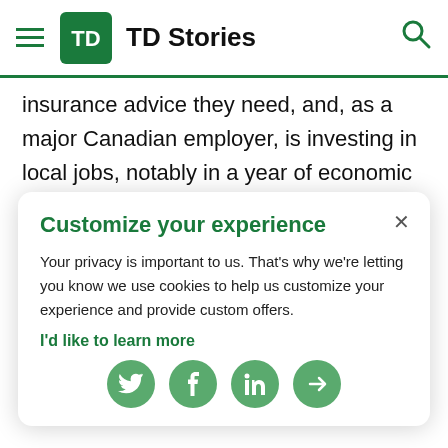TD Stories
insurance advice they need, and, as a major Canadian employer, is investing in local jobs, notably in a year of economic uncertainty.
has never been more important than it is today. In a year of such economic uncertainty, we are very proud to be investing in local jobs and helping support the region's economic recovery from COVID-19.
TD also reinforces our commitment to better
Customize your experience
Your privacy is important to us. That's why we're letting you know we use cookies to help us customize your experience and provide custom offers.
I'd like to learn more